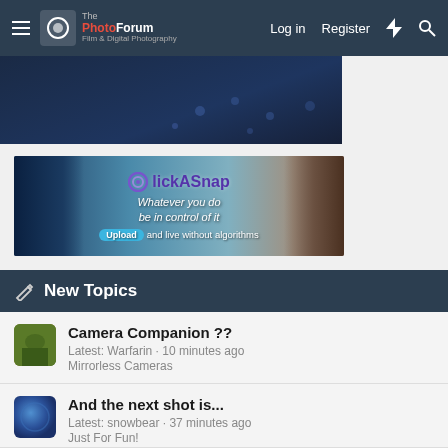ThePhotoForum - Film & Digital Photography | Log in | Register
[Figure (screenshot): Partial dark blue banner at top of page]
[Figure (photo): ClickASnap advertisement banner: photographer with camera, text 'Whatever you do be in control of it. Upload and live without algorithms']
New Topics
Camera Companion ?? | Latest: Warfarin · 10 minutes ago | Mirrorless Cameras
And the next shot is... | Latest: snowbear · 37 minutes ago | Just For Fun!